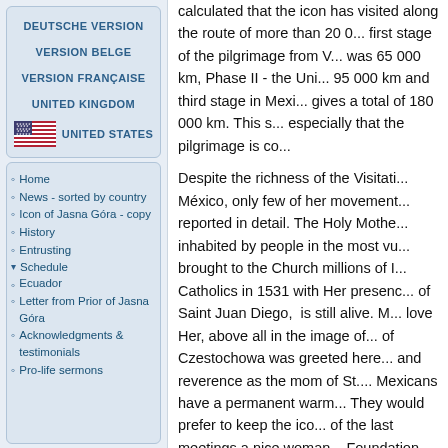DEUTSCHE VERSION
VERSION BELGE
VERSION FRANÇAISE
UNITED KINGDOM
UNITED STATES
Home
News - sorted by country
Icon of Jasna Góra - copy
History
Entrusting
Schedule
Ecuador
Letter from Prior of Jasna Góra
Acknowledgments & testimonials
Pro-life sermons
calculated that the icon has visited along the route of more than 20 0... first stage of the pilgrimage from V... was 65 000 km, Phase II - the Uni... 95 000 km and third stage in Mexi... gives a total of 180 000 km. This s... especially that the pilgrimage is co...
Despite the richness of the Visitati... México, only few of her movement... reported in detail. The Holy Mothe... inhabited by people in the most vu... brought to the Church millions of I... Catholics in 1531 with Her presenc... of Saint Juan Diego, is still alive. M... love Her, above all in the image of... of Czestochowa was greeted here... and reverence as the mom of St.... Mexicans have a permanent warm... They would prefer to keep the ico... of the last meetings a nice woman... Foundation came up and said with... us in Mexico? - But poor Ecuador...